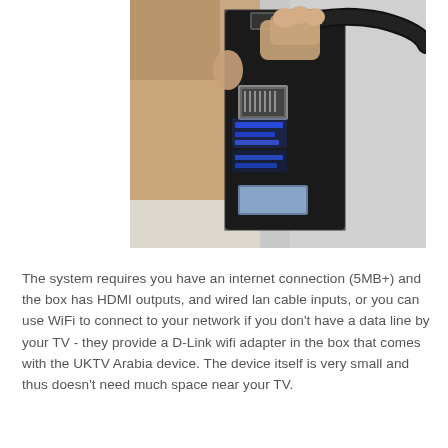[Figure (photo): A hand holding a small black device (UKTV Arabia set-top box) showing the back panel with Ethernet port, blue LED lights, and cables plugged in, against a light gray background.]
The system requires you have an internet connection (5MB+) and the box has HDMI outputs, and wired lan cable inputs, or you can use WiFi to connect to your network if you don't have a data line by your TV - they provide a D-Link wifi adapter in the box that comes with the UKTV Arabia device. The device itself is very small and thus doesn't need much space near your TV.